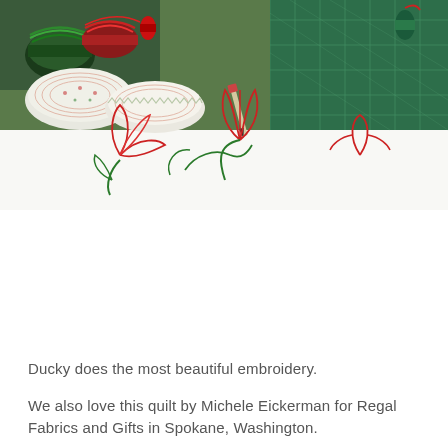[Figure (photo): Photograph of embroidery supplies including colorful thread spools (red, green, white), fabric rolls with floral patterns, and a white fabric with red and green embroidered flower outlines. A green cutting mat with grid lines is visible in the top right corner.]
Ducky does the most beautiful embroidery.
We also love this quilt by Michele Eickerman for Regal Fabrics and Gifts in Spokane, Washington.